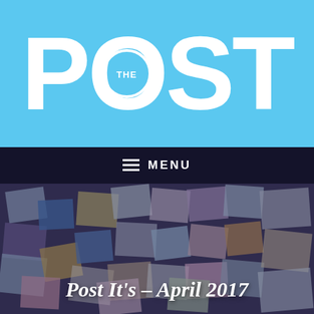THE POST
[Figure (screenshot): Navigation menu bar with hamburger icon and MENU text, overlaid on a background photo of colorful post-it notes]
Post It's – April 2017